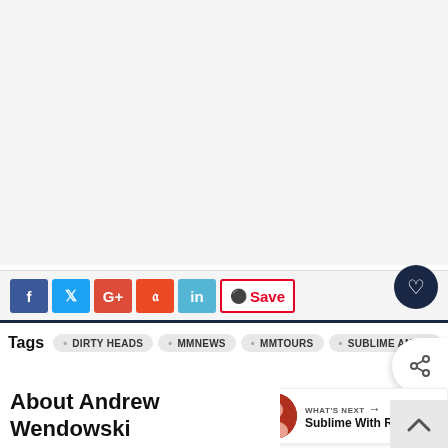[Figure (other): Advertisement or blank white area at top of page]
[Figure (other): Social sharing buttons: Facebook (f), Twitter (bird), Google+ (G+), StumbleUpon (Su), LinkedIn (in), Pinterest (Save), and a heart/favorite button]
Tags  DIRTY HEADS  MMNEWS  MMTOURS  SUBLIME AND R  SUMMER TOUR  TRIBAL SEEDS
[Figure (other): WHAT'S NEXT → Sublime With Rome... widget with circular photo]
[Figure (other): Share floating button with share icon]
[Figure (other): Scroll to top chevron button]
About Andrew Wendowski